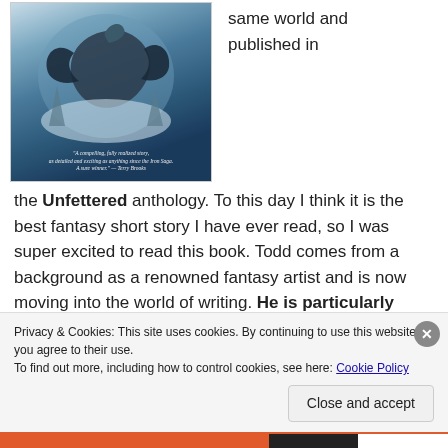[Figure (illustration): Book cover of 'Unfettered' anthology featuring a dark fantasy dragon illustration with a circular composition. Text at bottom reads: 'A compelling, fully realized story, as detailed and exciting as anything since the Iron Saga. A sure winner.' -- Terry Brooks]
same world and published in
the Unfettered anthology. To this day I think it is the best fantasy short story I have ever read, so I was super excited to read this book. Todd comes from a background as a renowned fantasy artist and is now moving into the world of writing. He is particularly good at drawing dragons and it is no surprise that his
Privacy & Cookies: This site uses cookies. By continuing to use this website, you agree to their use.
To find out more, including how to control cookies, see here: Cookie Policy
Close and accept